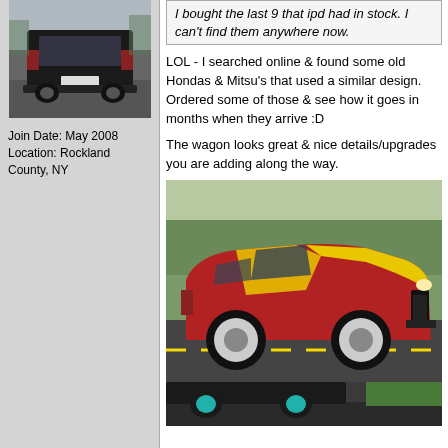[Figure (photo): Rear view of a dark SUV/vehicle in a parking area]
Join Date: May 2008
Location: Rockland County, NY
I bought the last 9 that ipd had in stock. I can't find them anywhere now.
LOL - I searched online & found some old Hondas & Mitsu's that used a similar design. Ordered some of those & see how it goes in months when they arrive :D
The wagon looks great & nice details/upgrades you are adding along the way.
[Figure (photo): Red and yellow custom/modified classic car on a road, front 3/4 view]
[Figure (photo): Dark modified car partial view on road]